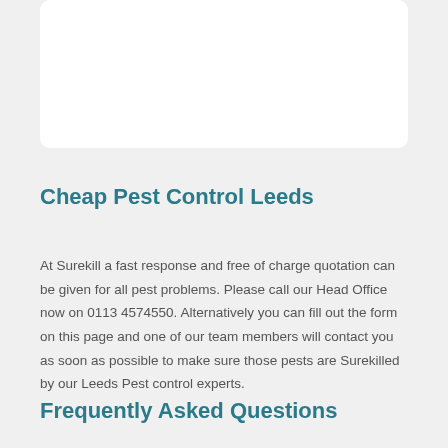Cheap Pest Control Leeds
At Surekill a fast response and free of charge quotation can be given for all pest problems. Please call our Head Office now on 0113 4574550. Alternatively you can fill out the form on this page and one of our team members will contact you as soon as possible to make sure those pests are Surekilled by our Leeds Pest control experts.
Frequently Asked Questions